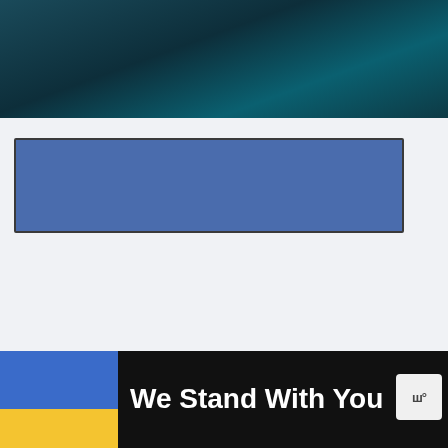[Figure (screenshot): Dark teal/underwater themed video thumbnail or video player banner at the top of the page]
[Figure (screenshot): Blue rectangular embed or button box with dark border in the content area]
[Figure (screenshot): UI overlay elements: blue heart/like button circle, count bubble showing '1', pink scroll-to-top arrow button, 'WHAT'S NEXT' panel showing Batman Animated thumbnail and text, close X button, and bottom advertisement banner reading 'We Stand With You' with Ukrainian flag colors and brand logo]
WHAT'S NEXT →
Batman Animated...
1
We Stand With You